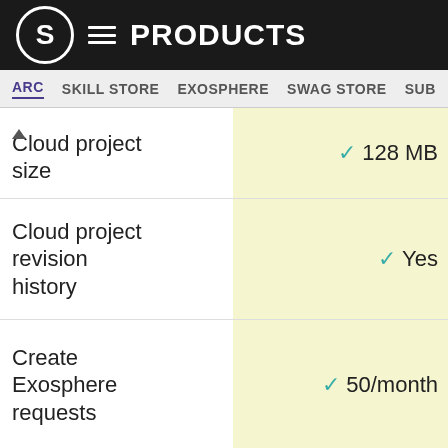S PRODUCTS
ARC SKILL STORE EXOSPHERE SWAG STORE SUB
| Feature | Value |
| --- | --- |
| Cloud project size | ✓ 128 MB |
| Cloud project revision history | ✓ Yes |
| Create Exosphere requests | ✓ 50/month |
| ↑ sphere access | Contact Us |